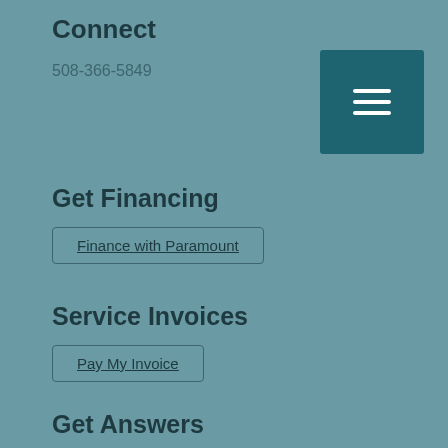Connect
508-366-5849
Get Financing
Finance with Paramount
Service Invoices
Pay My Invoice
Get Answers
ASK US